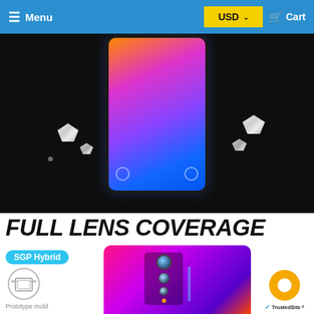Menu   USD   Cart
[Figure (photo): Smartphone with edge-to-edge display on dark background with diamond/crystal decorations scattered around it]
FULL LENS COVERAGE
SGP Hybrid
[Figure (photo): Back of a red/purple gradient smartphone showing camera module with multiple lenses]
[Figure (logo): TrustedSite badge with yellow circle logo]